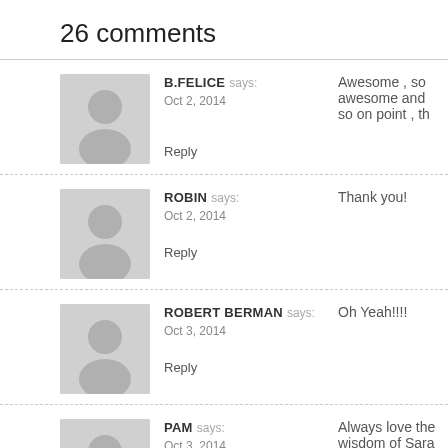26 comments
B.FELICE says: Oct 2, 2014 — Awesome , so awesome and so on point , th... Reply
ROBIN says: Oct 2, 2014 — Thank you! Reply
ROBERT BERMAN says: Oct 3, 2014 — Oh Yeah!!!! Reply
PAM says: Oct 3, 2014 — Always love the wisdom of Sara Varcus. A deligh... Reply